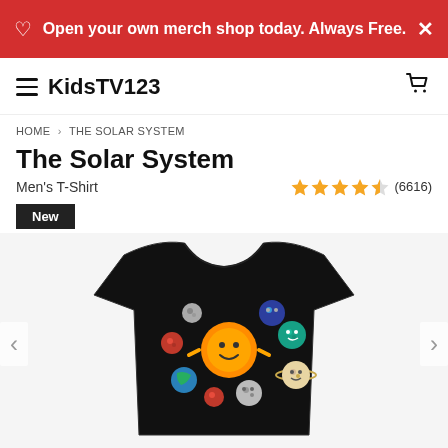Open your own merch shop today. Always Free.
KidsTV123
HOME > THE SOLAR SYSTEM
The Solar System
Men's T-Shirt
★★★★½ (6616)
New
[Figure (photo): Black men's t-shirt with cartoon solar system design showing smiling sun character surrounded by cartoon planet characters]